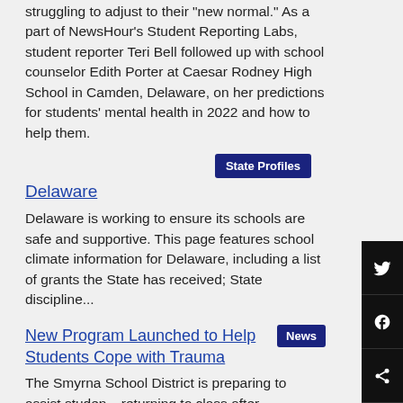struggling to adjust to their "new normal." As a part of NewsHour's Student Reporting Labs, student reporter Teri Bell followed up with school counselor Edith Porter at Caesar Rodney High School in Camden, Delaware, on her predictions for students' mental health in 2022 and how to help them.
Delaware
Delaware is working to ensure its schools are safe and supportive. This page features school climate information for Delaware, including a list of grants the State has received; State discipline...
New Program Launched to Help Students Cope with Trauma
The Smyrna School District is preparing to assist students returning to class after experiencing potentially traumatic encounters.